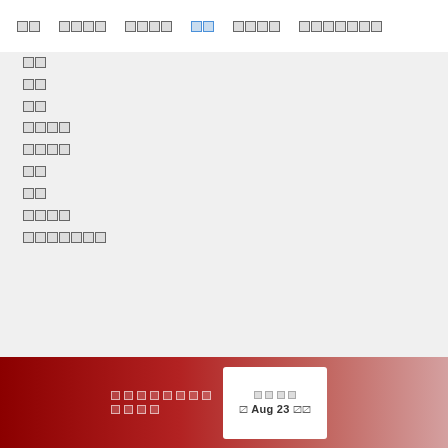〼〼  〼〼〼〼  〼〼〼〼  〼〼  〼〼〼〼  〼〼〼〼〼〼〼
〼〼
〼〼
〼〼
〼〼〼〼
〼〼〼〼
〼〼
〼〼
〼〼〼〼
〼〼〼〼〼〼〼
〼〼〼〼〼〼〼〼 〼〼〼〼  〼〼〼〼  〼 Aug 23 〼〼